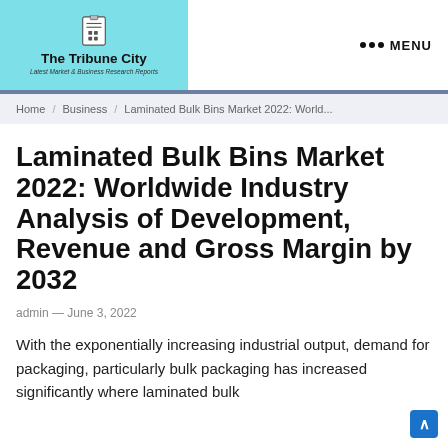[Figure (logo): The Tribune City logo with teal background, clipboard icon, bold title and italic subtitle 'Latest Market & Business Research Reports']
••• MENU
Home  Business  Laminated Bulk Bins Market 2022: World...
Laminated Bulk Bins Market 2022: Worldwide Industry Analysis of Development, Revenue and Gross Margin by 2032
admin — June 3, 2022
With the exponentially increasing industrial output, demand for packaging, particularly bulk packaging has increased significantly where laminated bulk